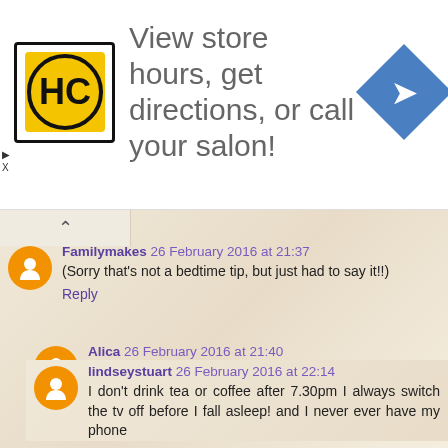[Figure (infographic): Advertisement banner for a salon locator service with HC logo, text 'View store hours, get directions, or call your salon!', and a blue navigation icon]
Familymakes 26 February 2016 at 21:37
(Sorry that's not a bedtime tip, but just had to say it!!)
Reply
Alica 26 February 2016 at 21:40
A warm non caffeine drink sometimes helps and no technology for an hour before bed :)
Reply
lindseystuart 26 February 2016 at 22:14
I don't drink tea or coffee after 7.30pm I always switch the tv off before I fall asleep! and I never ever have my phone next...